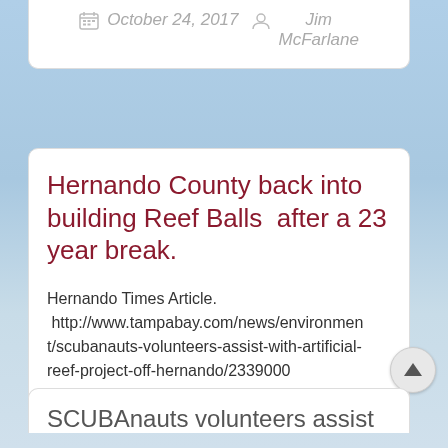October 24, 2017   Jim McFarlane
Hernando County back into building Reef Balls  after a 23 year break.
Hernando Times Article.  http://www.tampabay.com/news/environment/scubanauts-volunteers-assist-with-artificial-reef-project-off-hernando/2339000
SCUBAnauts volunteers assist